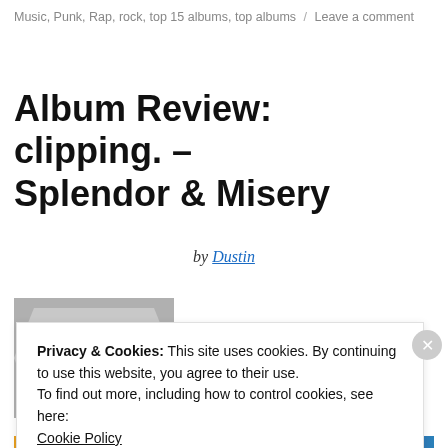Music, Punk, Rap, rock, top 15 albums, top albums / Leave a comment
Album Review: clipping. – Splendor & Misery
by Dustin
[Figure (photo): Partial album cover showing a dark figure/silhouette against a grey background]
Privacy & Cookies: This site uses cookies. By continuing to use this website, you agree to their use.
To find out more, including how to control cookies, see here:
Cookie Policy
Close and accept